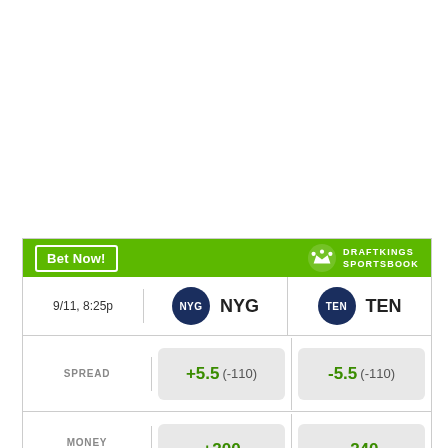[Figure (screenshot): DraftKings Sportsbook betting card for NYG vs TEN game on 9/11 8:25p, showing spread (+5.5 -110 / -5.5 -110), money line (+200 / -240), and over/under (>44 -105 / <44 -115)]